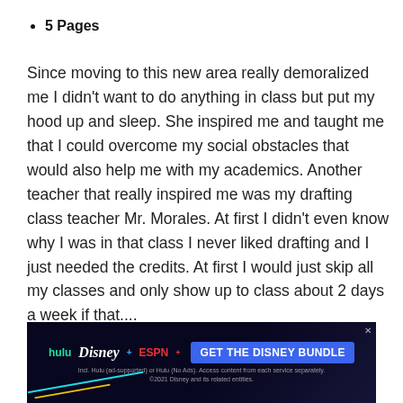5 Pages
Since moving to this new area really demoralized me I didn't want to do anything in class but put my hood up and sleep. She inspired me and taught me that I could overcome my social obstacles that would also help me with my academics. Another teacher that really inspired me was my drafting class teacher Mr. Morales. At first I didn't even know why I was in that class I never liked drafting and I just needed the credits. At first I would just skip all my classes and only show up to class about 2 days a week if that....
[Figure (other): Teal rounded 'Read More' button]
[Figure (other): Disney Bundle advertisement banner with Hulu, Disney+, ESPN+ logos and 'GET THE DISNEY BUNDLE' call to action]